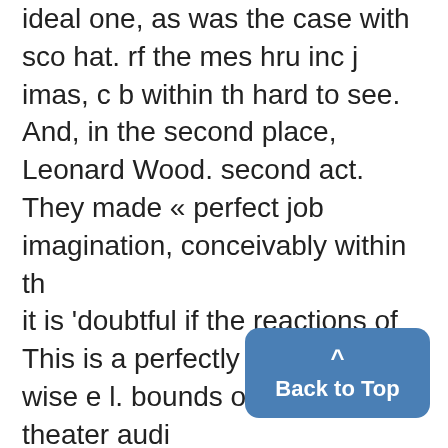ideal one, as was the case with sco hat. rf the mes hru inc j imas, c b within th hard to see. And, in the second place, Leonard Wood. second act. They made « perfect job imagination, conceivably within th
it is 'doubtful if the reactions of This is a perfectly sane and wise e l. bounds of the Whitney theater audi
freshmen are very reliable on the standpoint and is one, which if pur-
fIISIIENTIITTLE ATTENI)S the m
hips and lips th
subject. The freshmen, if they drink sued